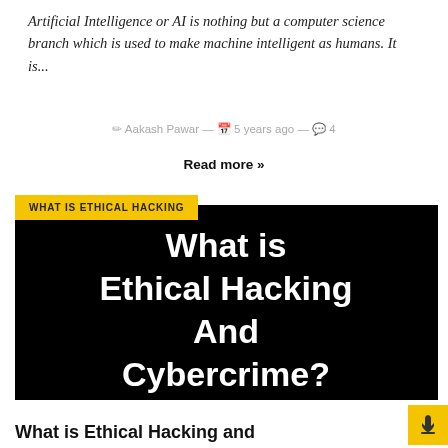Artificial Intelligence or AI is nothing but a computer science branch which is used to make machine intelligent as humans. It is...
✏ Aakash Pawar — 📅 5 years ago — 💬 4
Read more »
WHAT IS ETHICAL HACKING
[Figure (illustration): Black background image with large white bold text reading 'What is Ethical Hacking And Cybercrime?']
What is Ethical Hacking and